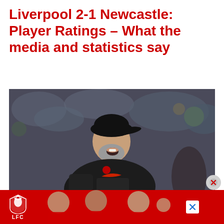Liverpool 2-1 Newcastle: Player Ratings – What the media and statistics say
[Figure (photo): A man wearing a black Nike hoodie with a Liverpool FC logo and a black baseball cap, mouth open, looking upward, appearing to be a football manager on the sideline. Background is blurred crowd.]
[Figure (photo): Liverpool FC advertisement banner showing the LFC liver bird logo on the left and Liverpool players in red kit on the right, on a red background.]